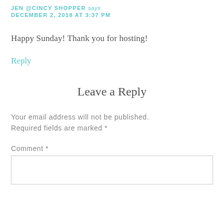JEN @CINCY SHOPPER says
DECEMBER 2, 2018 AT 3:37 PM
Happy Sunday! Thank you for hosting!
Reply
Leave a Reply
Your email address will not be published. Required fields are marked *
Comment *